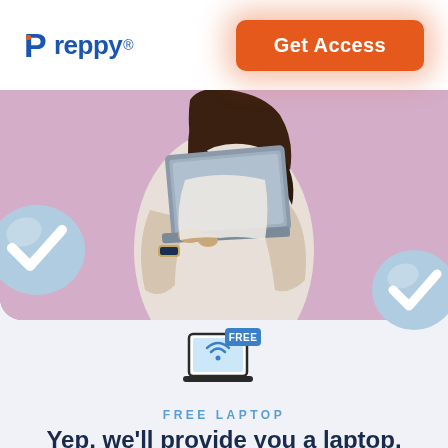[Figure (logo): Preppy logo in blue with registered trademark symbol]
Get Access
[Figure (photo): Person holding a laptop against a pink/purple background, with blue 3D checkmark icons on left and right sides]
[Figure (illustration): Laptop icon with wifi symbol and a blue FREE badge tag]
FREE LAPTOP
Yep, we'll provide you a laptop.